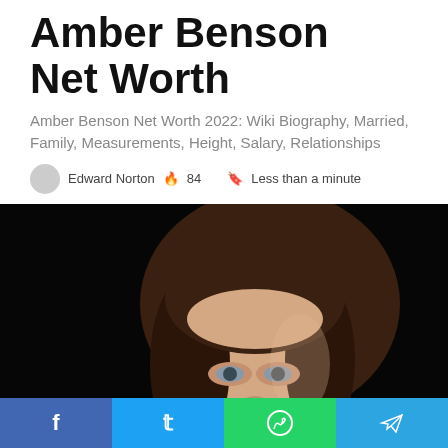Amber Benson Net Worth
Amber Benson Net Worth 2022: Wiki Biography, Married, Family, Measurements, Height, Salary, Relationships
Edward Norton 🔥 84 🔖 Less than a minute
[Figure (photo): Portrait photo of a young woman with brown hair against a dark background, looking directly at the camera.]
f  t  ⊕  ✈